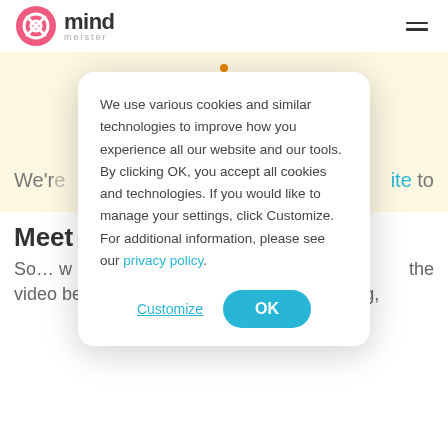MindMeister logo and navigation
[Figure (screenshot): Cookie consent modal dialog on MindMeister website. The dialog contains text about cookies and similar technologies, with Customize and OK buttons. The background shows the MindMeister website with yellow section and partial page text.]
We use various cookies and similar technologies to improve how you experience all our website and our tools. By clicking OK, you accept all cookies and technologies. If you would like to manage your settings, click Customize. For additional information, please see our privacy policy.
Customize
OK
We're
ite to
Meet
So… w the
video below, our latest tool is all about writing,